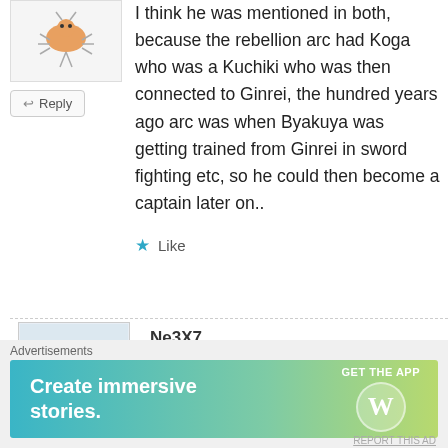[Figure (illustration): Small cartoon avatar of a character (appears to be an insect/bug character) above a Reply button]
I think he was mentioned in both, because the rebellion arc had Koga who was a Kuchiki who was then connected to Ginrei, the hundred years ago arc was when Byakuya was getting trained from Ginrei in sword fighting etc, so he could then become a captain later on..
★ Like
[Figure (illustration): Small cartoon avatar of a blue crab/lobster character]
Ne3X7
July 26, 2012 at 5:22 pm
Advertisements
[Figure (screenshot): WordPress advertisement banner: 'Create immersive stories.' with GET THE APP button and WordPress logo]